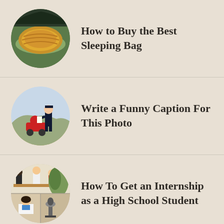How to Buy the Best Sleeping Bag
Write a Funny Caption For This Photo
How To Get an Internship as a High School Student